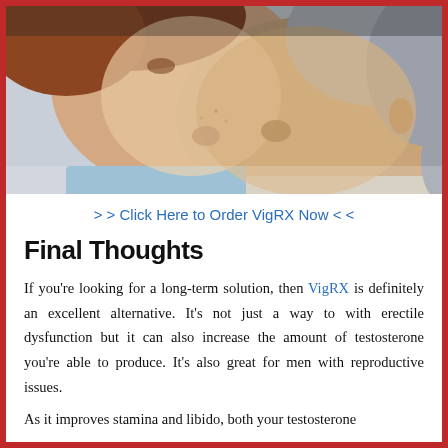[Figure (photo): Close-up photo of two people (a woman with reddish-brown hair and a man with silver/grey hair) about to kiss, faces very close together.]
> > Click Here to Order VigRX Now < <
Final Thoughts
If you're looking for a long-term solution, then VigRX is definitely an excellent alternative. It's not just a way to with erectile dysfunction but it can also increase the amount of testosterone you're able to produce. It's also great for men with reproductive issues.
As it improves stamina and libido, both your testosterone